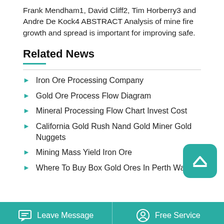Frank Mendham1, David Cliff2, Tim Horberry3 and Andre De Kock4 ABSTRACT Analysis of mine fire growth and spread is important for improving safe.
Related News
Iron Ore Processing Company
Gold Ore Process Flow Diagram
Mineral Processing Flow Chart Invest Cost
California Gold Rush Nand Gold Miner Gold Nuggets
Mining Mass Yield Iron Ore
Where To Buy Box Gold Ores In Perth Wa
Leave Message   Free Service